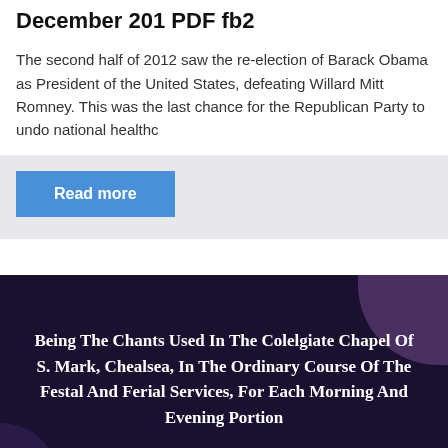December 201 PDF fb2
The second half of 2012 saw the re-election of Barack Obama as President of the United States, defeating Willard Mitt Romney. This was the last chance for the Republican Party to undo national healthc
[Figure (other): Blue 'Read more' button on a light grey background panel]
[Figure (other): Dark purple/navy background section with white bold serif text reading: Being The Chants Used In The Colelgiate Chapel Of S. Mark, Chealsea, In The Ordinary Course Of The Festal And Ferial Services, For Each Morning And Evening Portion. Decorative purple blob shapes in corners.]